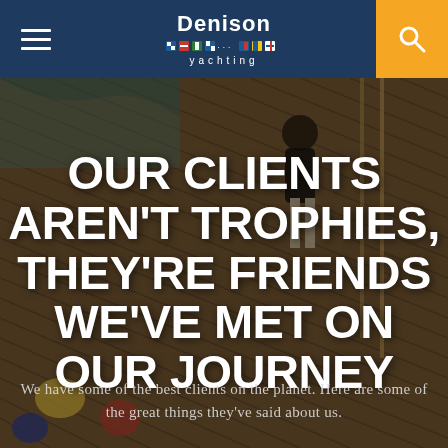Denison yachting — navigation bar with hamburger menu and search button
[Figure (photo): Aerial/overhead view of a yacht deck with wooden teak planking. A man in dark shirt and white pants is visible standing on the deck, with other people seated around in colorful clothing. Water and wake visible at top left.]
OUR CLIENTS AREN'T TROPHIES, THEY'RE FRIENDS WE'VE MET ON OUR JOURNEY
We have some of the best clients on the planet. Here are some of the great things they've said about us.